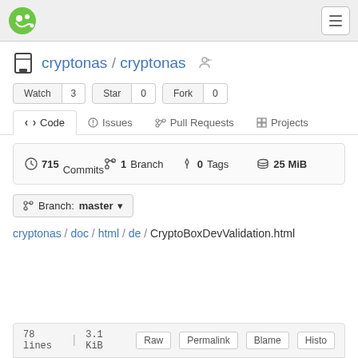cryptonas / cryptonas — Gitea navigation bar
cryptonas / cryptonas
Watch 3   Star 0   Fork 0
Code   Issues   Pull Requests   Projects
715 Commits   1 Branch   0 Tags   25 MiB
Branch: master
cryptonas / doc / html / de / CryptoBoxDevValidation.html
78 lines   3.1 KiB   Raw   Permalink   Blame   Histo